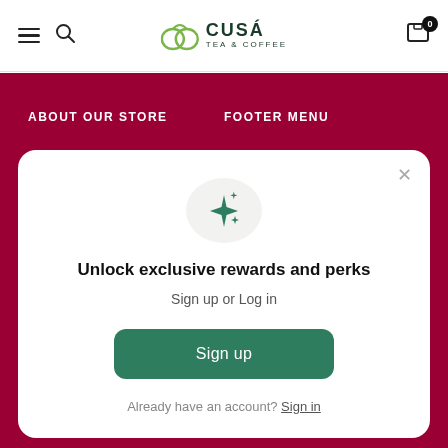CUSA TEA & COFFEE — navigation header with menu, search, logo, and cart (0 items)
ABOUT OUR STORE
FOOTER MENU
Unlock exclusive rewards and perks
Sign up or Log in
Sign up
Already have an account? Sign in
Shop All